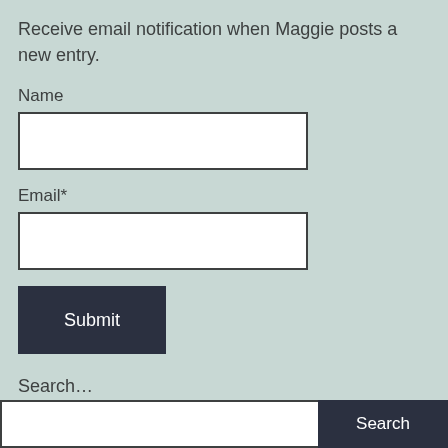Receive email notification when Maggie posts a new entry.
Name
[Figure (other): Empty text input field for Name]
Email*
[Figure (other): Empty text input field for Email]
[Figure (other): Submit button with dark background]
Search…
[Figure (other): Search input field with Search button on right]